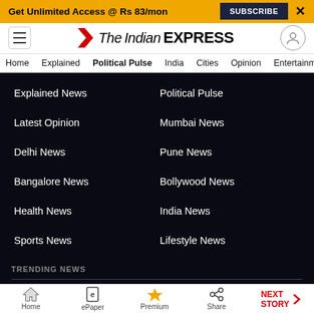Get Unlimited Access @ Rs 83/mon  SUBSCRIBE  X
[Figure (logo): The Indian Express logo with red chevron icon]
Home  Explained  Political Pulse  India  Cities  Opinion  Entertainment
Explained News
Political Pulse
Latest Opinion
Mumbai News
Delhi News
Pune News
Bangalore News
Bollywood News
Health News
India News
Sports News
Lifestyle News
TRENDING NEWS
Home  ePaper  Premium  Share  NEXT STORY